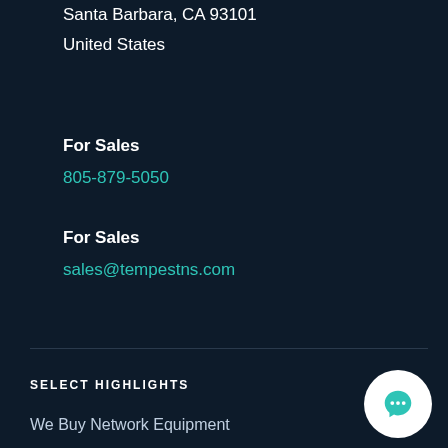Santa Barbara, CA 93101
United States
For Sales
805-879-5050
For Sales
sales@tempestns.com
SELECT HIGHLIGHTS
We Buy Network Equipment
Battery and DC Power Solutions